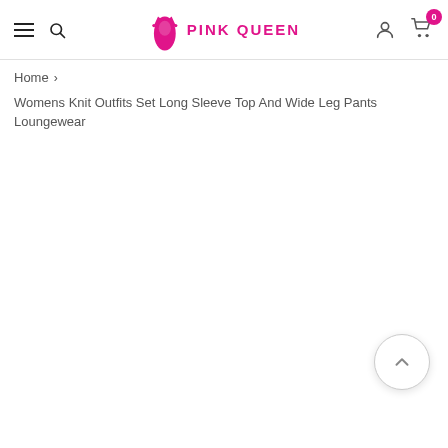Pink Queen — navigation header with hamburger menu, search icon, logo, user icon, and cart (0)
Home >
Womens Knit Outfits Set Long Sleeve Top And Wide Leg Pants Loungewear
[Figure (other): Back-to-top circular button with upward chevron arrow]